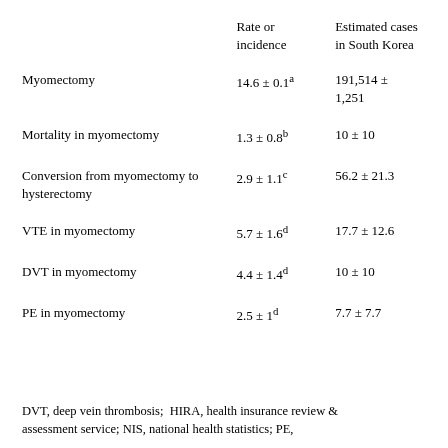|  | Rate or incidence | Estimated cases in South Korea |
| --- | --- | --- |
| Myomectomy | 14.6 ± 0.1a | 191,514 ± 1,251 |
| Mortality in myomectomy | 1.3 ± 0.8b | 10 ± 10 |
| Conversion from myomectomy to hysterectomy | 2.9 ± 1.1c | 56.2 ± 21.3 |
| VTE in myomectomy | 5.7 ± 1.6d | 17.7 ± 12.6 |
| DVT in myomectomy | 4.4 ± 1.4d | 10 ± 10 |
| PE in myomectomy | 2.5 ± 1d | 7.7 ± 7.7 |
DVT, deep vein thrombosis;  HIRA, health insurance review & assessment service; NIS, national health statistics; PE,